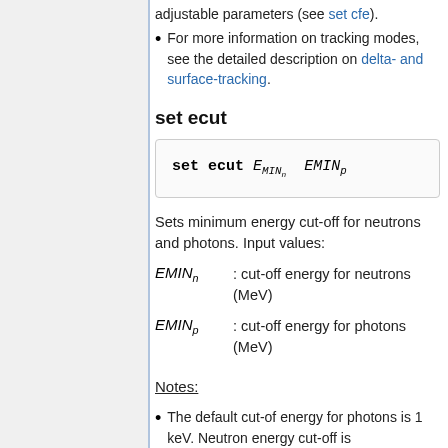adjustable parameters (see set cfe).
For more information on tracking modes, see the detailed description on delta- and surface-tracking.
set ecut
Sets minimum energy cut-off for neutrons and photons. Input values:
EMIN_n : cut-off energy for neutrons (MeV)
EMIN_p : cut-off energy for photons (MeV)
Notes:
The default cut-of energy for photons is 1 keV. Neutron energy cut-off is